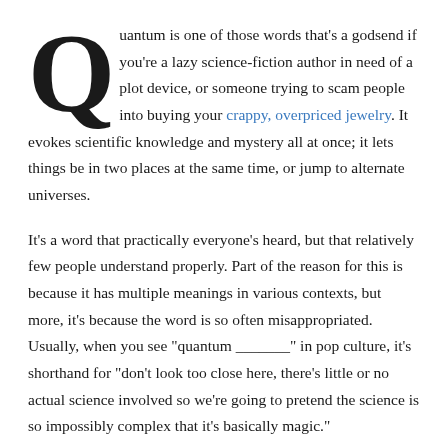Quantum is one of those words that's a godsend if you're a lazy science-fiction author in need of a plot device, or someone trying to scam people into buying your crappy, overpriced jewelry. It evokes scientific knowledge and mystery all at once; it lets things be in two places at the same time, or jump to alternate universes.
It's a word that practically everyone's heard, but that relatively few people understand properly. Part of the reason for this is because it has multiple meanings in various contexts, but more, it's because the word is so often misappropriated. Usually, when you see "quantum _______" in pop culture, it's shorthand for "don't look too close here, there's little or no actual science involved so we're going to pretend the science is so impossibly complex that it's basically magic."